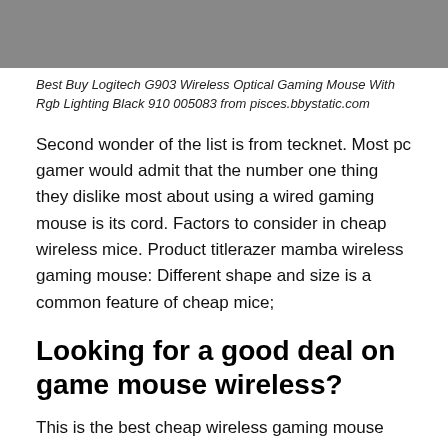[Figure (photo): Gray/silver image block at top of page, likely a product photo of a gaming mouse]
Best Buy Logitech G903 Wireless Optical Gaming Mouse With Rgb Lighting Black 910 005083 from pisces.bbystatic.com
Second wonder of the list is from tecknet. Most pc gamer would admit that the number one thing they dislike most about using a wired gaming mouse is its cord. Factors to consider in cheap wireless mice. Product titlerazer mamba wireless gaming mouse: Different shape and size is a common feature of cheap mice;
Looking for a good deal on game mouse wireless?
This is the best cheap wireless gaming mouse you can enjoy at your. Second wonder of the list is from tecknet. Tecknet classic 2.4g (best cheap wireless mouse for gaming) all in all,